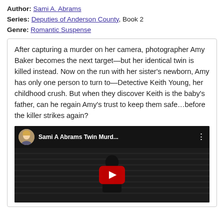Author: Sami A. Abrams
Series: Deputies of Anderson County, Book 2
Genre: Romantic Suspense
After capturing a murder on her camera, photographer Amy Baker becomes the next target—but her identical twin is killed instead. Now on the run with her sister's newborn, Amy has only one person to turn to—Detective Keith Young, her childhood crush. But when they discover Keith is the baby's father, can he regain Amy's trust to keep them safe…before the killer strikes again?
[Figure (screenshot): YouTube video thumbnail for 'Sami A Abrams Twin Murd...' showing a dark scene with a man in a suit and the YouTube play button overlay. The top bar shows a circular avatar photo of a blonde woman and the video title.]